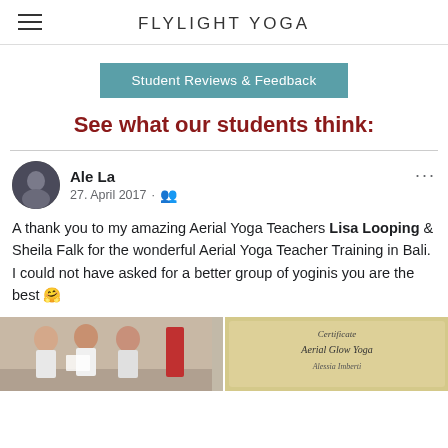FLYLIGHT YOGA
Student Reviews & Feedback
See what our students think:
Ale La
27. April 2017
A thank you to my amazing Aerial Yoga Teachers Lisa Looping & Sheila Falk for the wonderful Aerial Yoga Teacher Training in Bali. I could not have asked for a better group of yoginis you are the best 🤗
[Figure (photo): Two photos side by side: left shows three women posing together indoors; right shows a handwritten certificate reading 'Certificate Aerial Glow Yoga Alessia Imberti']